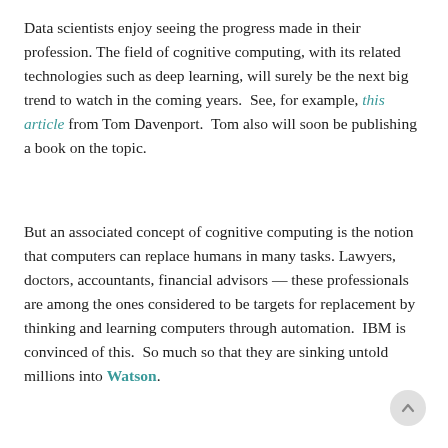Data scientists enjoy seeing the progress made in their profession. The field of cognitive computing, with its related technologies such as deep learning, will surely be the next big trend to watch in the coming years. See, for example, this article from Tom Davenport. Tom also will soon be publishing a book on the topic.
But an associated concept of cognitive computing is the notion that computers can replace humans in many tasks. Lawyers, doctors, accountants, financial advisors — these professionals are among the ones considered to be targets for replacement by thinking and learning computers through automation. IBM is convinced of this. So much so that they are sinking untold millions into Watson.